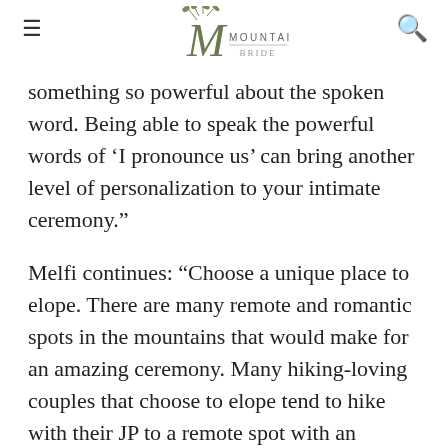Mountainside Bride — logo header with hamburger menu and search icon
something so powerful about the spoken word. Being able to speak the powerful words of ‘I pronounce us’ can bring another level of personalization to your intimate ceremony.”
Melfi continues: “Choose a unique place to elope. There are many remote and romantic spots in the mountains that would make for an amazing ceremony. Many hiking-loving couples that choose to elope tend to hike with their JP to a remote spot with an amazing mountain view. Maybe bring a friend